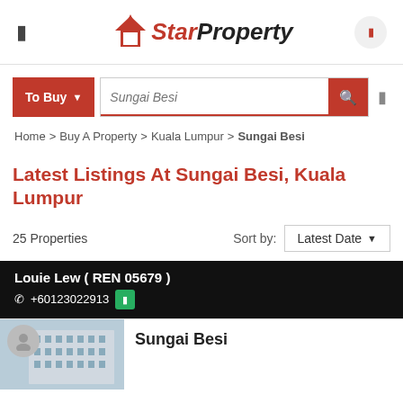StarProperty
To Buy  Sungai Besi [search button] [filter]
Home > Buy A Property > Kuala Lumpur > Sungai Besi
Latest Listings At Sungai Besi, Kuala Lumpur
25 Properties   Sort by:  Latest Date
Louie Lew ( REN 05679 )  +60123022913
Sungai Besi